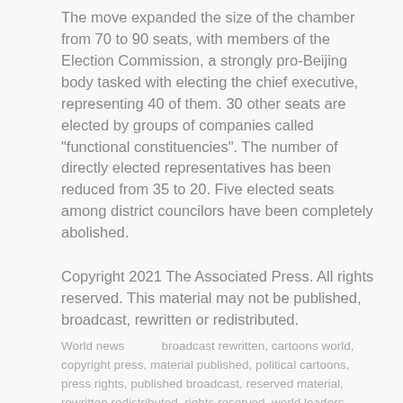The move expanded the size of the chamber from 70 to 90 seats, with members of the Election Commission, a strongly pro-Beijing body tasked with electing the chief executive, representing 40 of them. 30 other seats are elected by groups of companies called "functional constituencies". The number of directly elected representatives has been reduced from 35 to 20. Five elected seats among district councilors have been completely abolished.
Copyright 2021 The Associated Press. All rights reserved. This material may not be published, broadcast, rewritten or redistributed.
World news   broadcast rewritten, cartoons world, copyright press, material published, political cartoons, press rights, published broadcast, reserved material, rewritten redistributed, rights reserved, world leaders